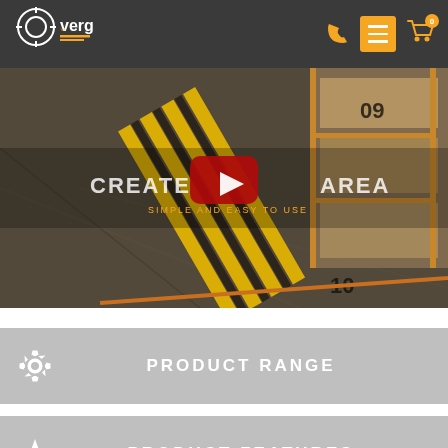[Figure (logo): Verge logo — circular crosshair icon with 'verge' text and orange underline, on dark gray header]
[Figure (screenshot): YouTube-style video thumbnail showing warehouse with yellow safety barriers from above. Text overlay: 'CREATE SAFE AREA' with subtitle 'SIMPLE AND EASY TO USE'. Red YouTube play button in center.]
PRODUCT RANGE
PRODUCT FEATURES